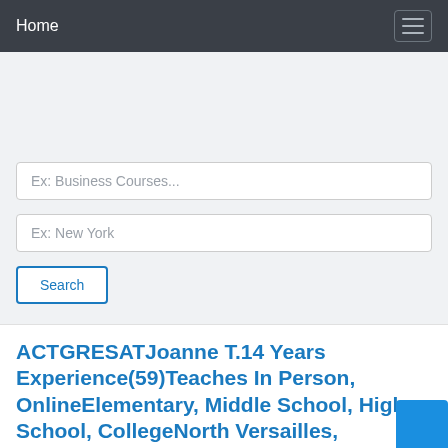Home
Ex: Business Courses...
Ex: New York
Search
ACTGRESATJoanne T.14 Years Experience(59)Teaches In Person, OnlineElementary, Middle School, High School, CollegeNorth Versailles,